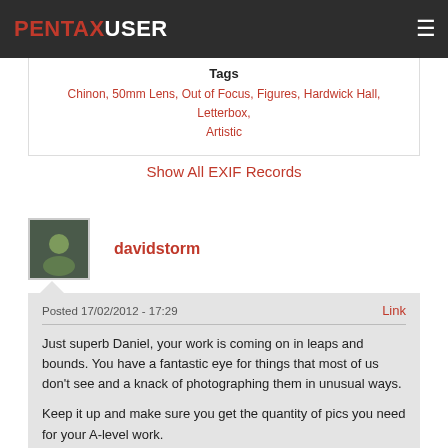PENTAXUSER
Tags
Chinon, 50mm Lens, Out of Focus, Figures, Hardwick Hall, Letterbox, Artistic
Show All EXIF Records
davidstorm
Posted 17/02/2012 - 17:29
Just superb Daniel, your work is coming on in leaps and bounds. You have a fantastic eye for things that most of us don't see and a knack of photographing them in unusual ways.

Keep it up and make sure you get the quantity of pics you need for your A-level work.